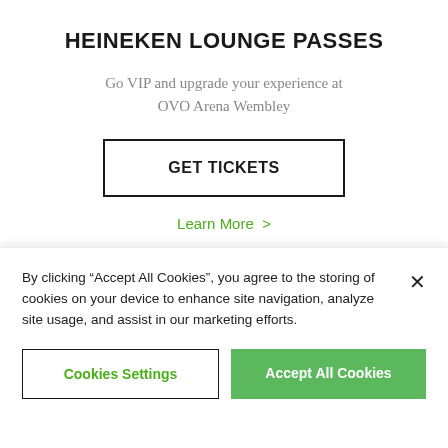HEINEKEN LOUNGE PASSES
Go VIP and upgrade your experience at OVO Arena Wembley
GET TICKETS
Learn More >
[Figure (logo): Club Seats logo — brown/gold rectangle with white bold italic text reading CLUB SEATS]
By clicking “Accept All Cookies”, you agree to the storing of cookies on your device to enhance site navigation, analyze site usage, and assist in our marketing efforts.
Cookies Settings
Accept All Cookies